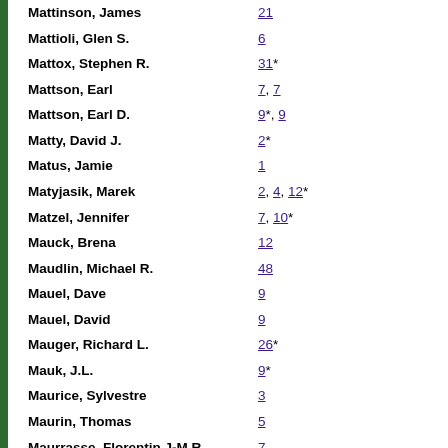Mattinson, James   21
Mattioli, Glen S.   6
Mattox, Stephen R.   31*
Mattson, Earl   7, 7
Mattson, Earl D.   9*, 9
Matty, David J.   2*
Matus, Jamie   1
Matyjasik, Marek   2, 4, 12*
Matzel, Jennifer   7, 10*
Mauck, Brena   12
Maudlin, Michael R.   48
Mauel, Dave   9
Mauel, David   9
Mauger, Richard L.   26*
Mauk, J.L.   9*
Maurice, Sylvestre   3
Maurin, Thomas   5
Maurrasse, Florentin J-M.R.   7
Maxwell, Ted A.   7*
May, Christopher L.   4*
Mayanovic, Robert   9*